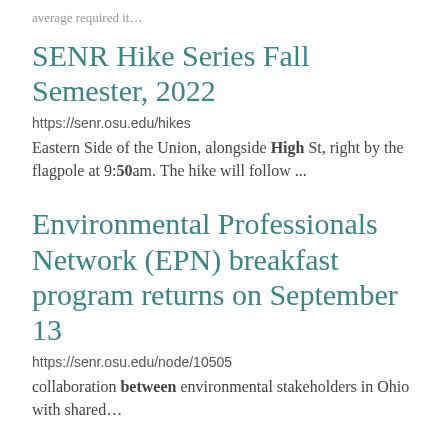average required it…
SENR Hike Series Fall Semester, 2022
https://senr.osu.edu/hikes
Eastern Side of the Union, alongside High St, right by the flagpole at 9:50am. The hike will follow ...
Environmental Professionals Network (EPN) breakfast program returns on September 13
https://senr.osu.edu/node/10505
collaboration between environmental stakeholders in Ohio with shared…